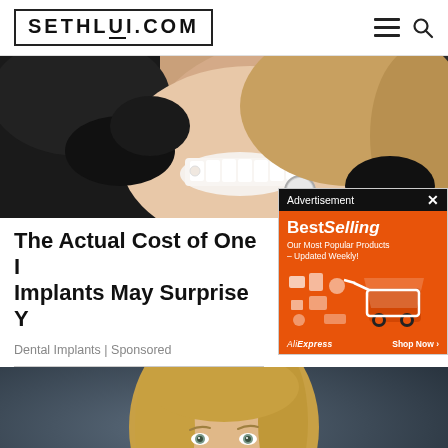SETHLUI.COM
[Figure (photo): Close-up of a woman smiling with white teeth being examined by a dentist wearing black gloves, holding a dental mirror]
The Actual Cost of One I Implants May Surprise Y
Dental Implants | Sponsored
[Figure (other): AliExpress Best Selling advertisement banner with orange background showing shopping cart and various product icons]
[Figure (photo): Portrait of a blonde woman against a dark blue-grey background]